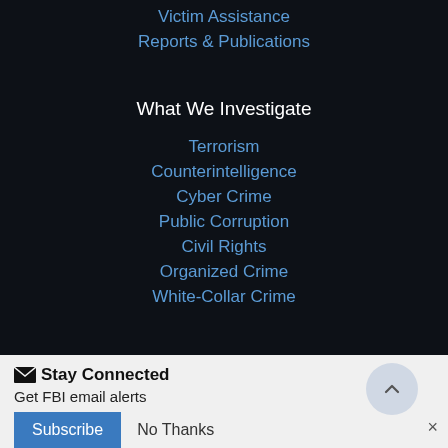Victim Assistance
Reports & Publications
What We Investigate
Terrorism
Counterintelligence
Cyber Crime
Public Corruption
Civil Rights
Organized Crime
White-Collar Crime
Stay Connected
Get FBI email alerts
Subscribe
No Thanks